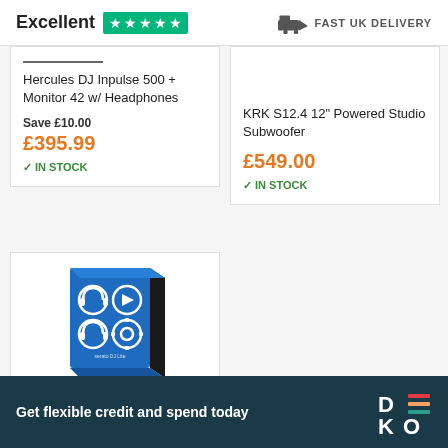Excellent ★★★★★  FAST UK DELIVERY
Hercules DJ Inpulse 500 + Monitor 42 w/ Headphones
Save £10.00
£395.99
✓ IN STOCK
KRK S12.4 12" Powered Studio Subwoofer
£549.00
✓ IN STOCK
[Figure (photo): Blue product box for Serato DJ Lite software with white icons]
Get flexible credit and spend today